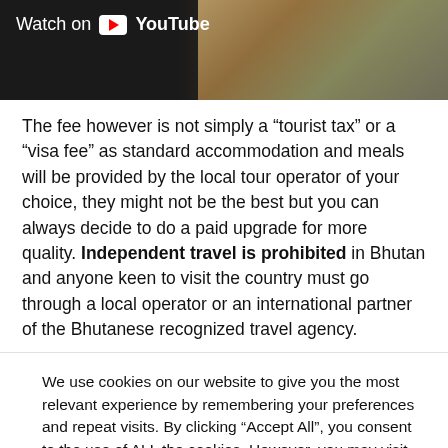[Figure (screenshot): YouTube video thumbnail/embed banner showing 'Watch on YouTube' overlay with dark left half and golden/architectural right half]
The fee however is not simply a “tourist tax” or a “visa fee” as standard accommodation and meals will be provided by the local tour operator of your choice, they might not be the best but you can always decide to do a paid upgrade for more quality. Independent travel is prohibited in Bhutan and anyone keen to visit the country must go through a local operator or an international partner of the Bhutanese recognized travel agency.
We use cookies on our website to give you the most relevant experience by remembering your preferences and repeat visits. By clicking “Accept All”, you consent to the use of ALL the cookies. However, you may visit "Cookie Settings" to provide a controlled consent.